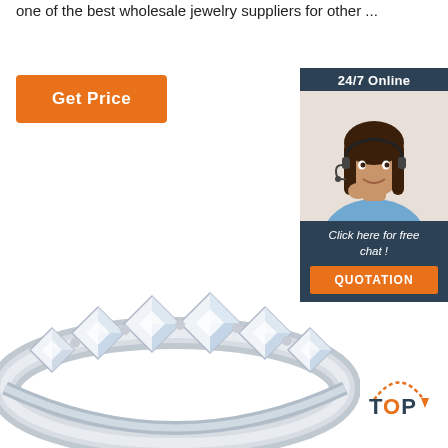one of the best wholesale jewelry suppliers for other ...
[Figure (other): Orange 'Get Price' button]
[Figure (other): 24/7 Online chat widget with photo of a female customer service representative wearing a headset, 'Click here for free chat!' text, and orange QUOTATION button]
[Figure (photo): Diamond/crystal eternity ring with multiple large square-cut gemstones set in silver/white gold band]
[Figure (other): TOP badge with orange dotted arrow and orange/blue TOP text]